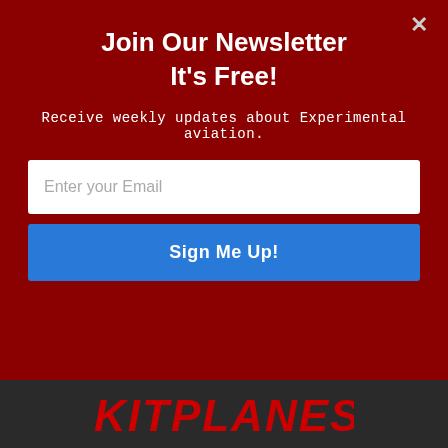Join Our Newsletter
It's Free!
Receive weekly updates about Experimental aviation.
Enter your Email
Sign Me Up!
propellers  racing  replica  safety
shop tip  sonex  subsonex  sun 'n fun  tools
van's  video  zenith
[Figure (logo): KITPLANES logo in red italic bold text on dark background]